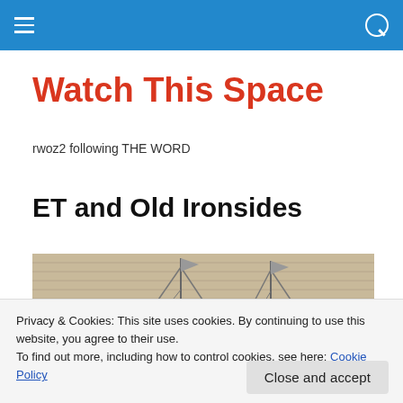Watch This Space – navigation bar
Watch This Space
rwoz2 following THE WORD
ET and Old Ironsides
[Figure (photo): Grayscale historical illustration of sailing ships with tall masts and rigging visible against a textured background.]
Privacy & Cookies: This site uses cookies. By continuing to use this website, you agree to their use.
To find out more, including how to control cookies, see here: Cookie Policy